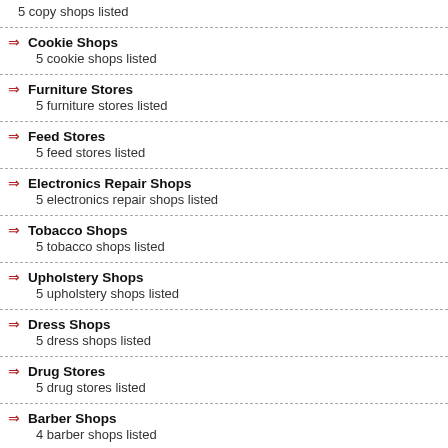5 copy shops listed
Cookie Shops
5 cookie shops listed
Furniture Stores
5 furniture stores listed
Feed Stores
5 feed stores listed
Electronics Repair Shops
5 electronics repair shops listed
Tobacco Shops
5 tobacco shops listed
Upholstery Shops
5 upholstery shops listed
Dress Shops
5 dress shops listed
Drug Stores
5 drug stores listed
Barber Shops
4 barber shops listed
Curtains Shops
4 curtains shops listed
Bicycle Repair Shops
4 bicycle repair shops listed